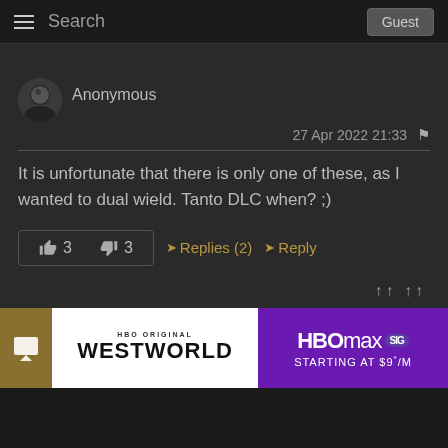Search  Guest
Anonymous
27 Apr 2022 21:33
It is unfortunate that there is only one of these, as I wanted to dual wield. Tanto DLC when? ;)
👍 3   👎 3   Replies (2)   Reply
[Figure (screenshot): Advertisement banner for HBO Max featuring Westworld. Shows 'HBO ORIGINAL / WESTWORLD' on left and 'HBOmax SIG / STARTING AT $9*/M' on purple background on right.]